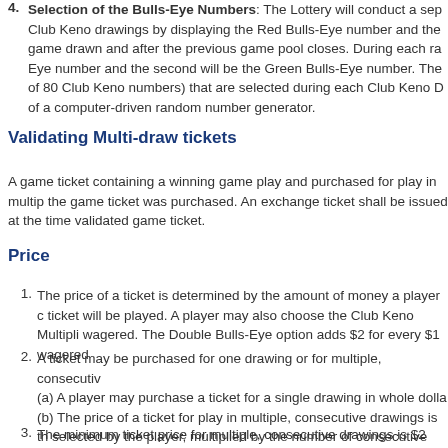4. Selection of the Bulls-Eye Numbers: The Lottery will conduct a separate Club Keno drawings by displaying the Red Bulls-Eye number and the game drawn and after the previous game pool closes. During each ra Eye number and the second will be the Green Bulls-Eye number. The of 80 Club Keno numbers) that are selected during each Club Keno D of a computer-driven random number generator.
Validating Multi-draw tickets
A game ticket containing a winning game play and purchased for play in multip the game ticket was purchased. An exchange ticket shall be issued at the time validated game ticket.
Price
1. The price of a ticket is determined by the amount of money a player c ticket will be played. A player may also choose the Club Keno Multipli wagered. The Double Bulls-Eye option adds $2 for every $1 wagered
2. A ticket may be purchased for one drawing or for multiple, consecutiv (a) A player may purchase a ticket for a single drawing in whole dolla (b) The price of a ticket for play in multiple, consecutive drawings is th selected by the player, multiplied by the number of consecutive drawi
3. The minimum ticket price for multiple, consecutive drawings is $2 ($1